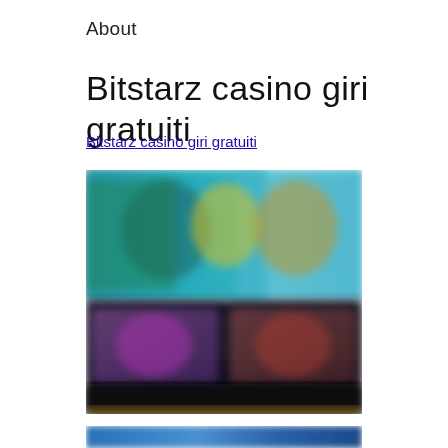About
Bitstarz casino giri gratuiti
Bitstarz casino giri gratuiti
[Figure (photo): Blurred screenshot of Bitstarz casino games interface showing colorful casino game tiles with characters]
[Figure (photo): Partial blurred image visible at bottom of page, appears to be another casino screenshot]